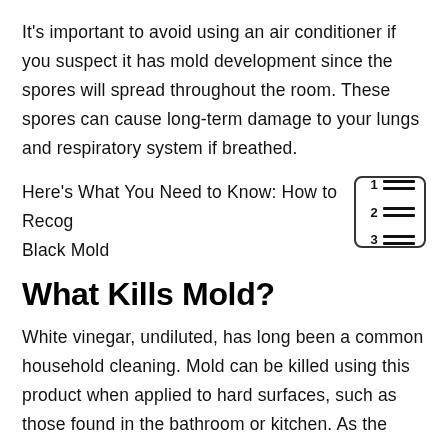It's important to avoid using an air conditioner if you suspect it has mold development since the spores will spread throughout the room. These spores can cause long-term damage to your lungs and respiratory system if breathed.
Here's What You Need to Know: How to Recognize Black Mold
What Kills Mold?
White vinegar, undiluted, has long been a common household cleaning. Mold can be killed using this product when applied to hard surfaces, such as those found in the bathroom or kitchen. As the